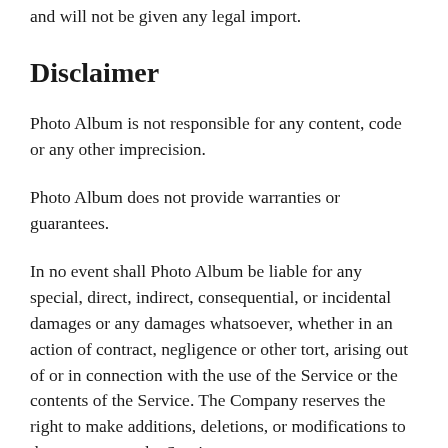and will not be given any legal import.
Disclaimer
Photo Album is not responsible for any content, code or any other imprecision.
Photo Album does not provide warranties or guarantees.
In no event shall Photo Album be liable for any special, direct, indirect, consequential, or incidental damages or any damages whatsoever, whether in an action of contract, negligence or other tort, arising out of or in connection with the use of the Service or the contents of the Service. The Company reserves the right to make additions, deletions, or modifications to the contents on the Service at any